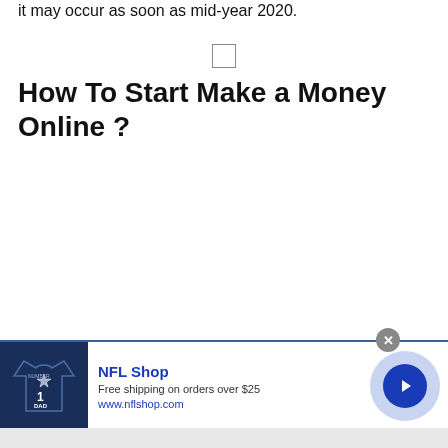it may occur as soon as mid-year 2020.
How To Start Make a Money Online ?
[Figure (other): NFL Shop advertisement banner with navy blue jersey image showing #1 DAD, NFL Shop logo, text 'Free shipping on orders over $25', 'www.nflshop.com', a circular arrow button, and a close X button]